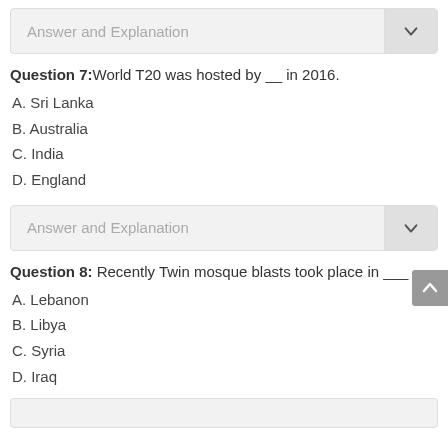Answer and Explanation
Question 7: World T20 was hosted by __ in 2016.
A. Sri Lanka
B. Australia
C. India
D. England
Answer and Explanation
Question 8: Recently Twin mosque blasts took place in ___
A. Lebanon
B. Libya
C. Syria
D. Iraq
Answer and Explanation